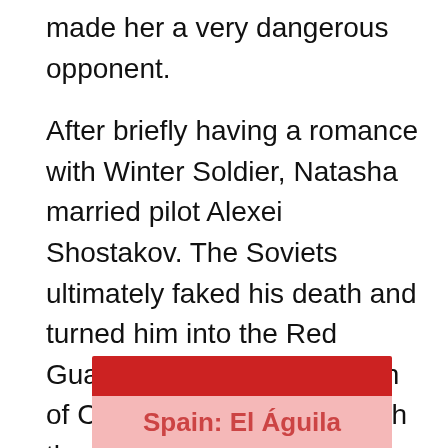made her a very dangerous opponent.

After briefly having a romance with Winter Soldier, Natasha married pilot Alexei Shostakov. The Soviets ultimately faked his death and turned him into the Red Guardian, the Soviet version of Captain America. Although the grief over Alexei's supposed death motivated her to finally earn the title of Black Widow, she soon defected into the United States and became a S.H.I.E.L.D. agent and, later, a member of the Avengers.
Spain: El Águila